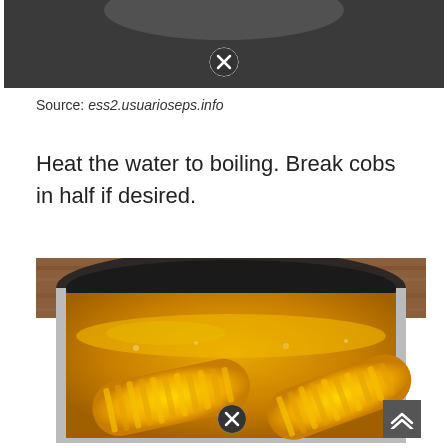[Figure (photo): Top portion of a photo showing a dark background with a close-up icon (X in circle) overlay in the center]
Source: ess2.usuarioseps.info
Heat the water to boiling. Break cobs in half if desired.
[Figure (photo): Photo of corn cobs boiling in a large metal pot of yellowish water on a wooden table, with a close-up icon (X in circle) overlay at the bottom center]